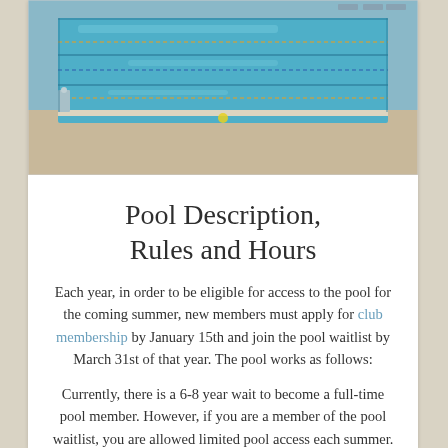[Figure (photo): Outdoor swimming pool with lane dividers, blue water, surrounding deck, and lounge chairs visible in background]
Pool Description, Rules and Hours
Each year, in order to be eligible for access to the pool for the coming summer, new members must apply for club membership by January 15th and join the pool waitlist by March 31st of that year. The pool works as follows:
Currently, there is a 6-8 year wait to become a full-time pool member. However, if you are a member of the pool waitlist, you are allowed limited pool access each summer. To become a member of the waitlist, there is a one-time payment of double $300 and a waitlist...